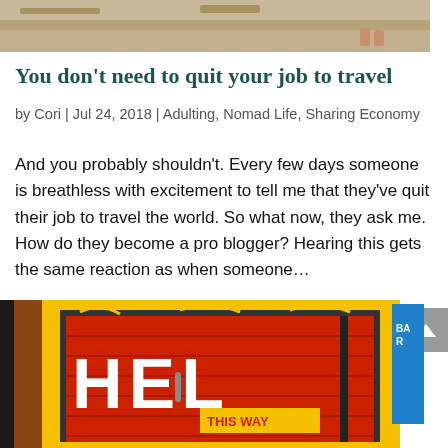[Figure (photo): Top portion of a photo showing sandy ground, partially cropped at the top of the page]
You don't need to quit your job to travel
by Cori | Jul 24, 2018 | Adulting, Nomad Life, Sharing Economy
And you probably shouldn't. Every few days someone is breathless with excitement to tell me that they've quit their job to travel the world. So what now, they ask me. How do they become a pro blogger? Hearing this gets the same reaction as when someone...
[Figure (photo): Photo of a bright yellow storefront with red door/shutters, featuring bold white text reading 'HELL THIS WAY', with a blue bar on the right side and dark left border]